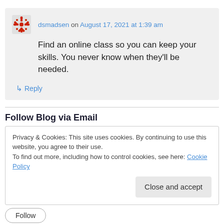dsmadsen on August 17, 2021 at 1:39 am
Find an online class so you can keep your skills. You never know when they’ll be needed.
↳ Reply
Follow Blog via Email
Privacy & Cookies: This site uses cookies. By continuing to use this website, you agree to their use.
To find out more, including how to control cookies, see here: Cookie Policy
Close and accept
Follow